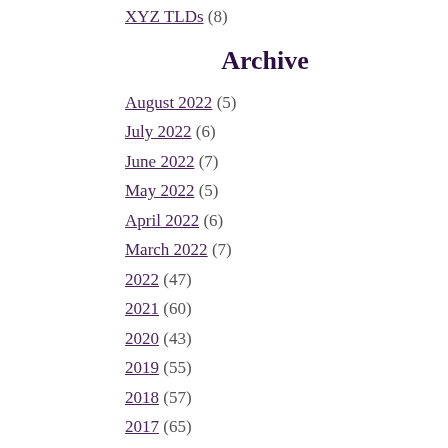XYZ TLDs (8)
Archive
August 2022 (5)
July 2022 (6)
June 2022 (7)
May 2022 (5)
April 2022 (6)
March 2022 (7)
2022 (47)
2021 (60)
2020 (43)
2019 (55)
2018 (57)
2017 (65)